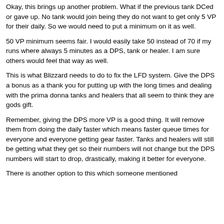Okay, this brings up another problem.  What if the previous tank DCed or gave up.  No tank would join being they do not want to get only 5 VP for their daily.  So we would need to put a minimum on it as well.
50 VP minimum seems fair.  I would easily take 50 instead of 70 if my runs where always 5 minutes as a DPS, tank or healer.  I am sure others would feel that way as well.
This is what Blizzard needs to do to fix the LFD system.  Give the DPS a bonus as a thank you for putting up with the long times and dealing with the prima donna tanks and healers that all seem to think they are gods gift.
Remember, giving the DPS more VP is a good thing.  It will remove them from doing the daily faster which means faster queue times for everyone and everyone getting gear faster.  Tanks and healers will still be getting what they get so their numbers will not change but the DPS numbers will start to drop, drastically, making it better for everyone.
There is another option to this which someone mentioned